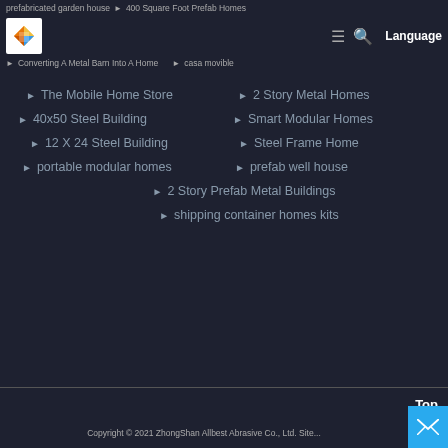prefabricated garden house ▶ 400 Square Foot Prefab Homes | logo | menu | search | Language
▶ Converting A Metal Barn Into A Home
▶ casa movible
▶ The Mobile Home Store
▶ 2 Story Metal Homes
▶ 40x50 Steel Building
▶ Smart Modular Homes
▶ 12 X 24 Steel Building
▶ Steel Frame Home
▶ portable modular homes
▶ prefab well house
▶ 2 Story Prefab Metal Buildings
▶ shipping container homes kits
Copyright © 2021 ZhongShan Allbest Abrasive Co., Ltd. Site...